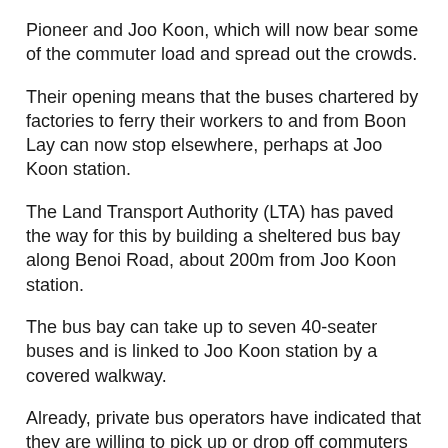Pioneer and Joo Koon, which will now bear some of the commuter load and spread out the crowds.
Their opening means that the buses chartered by factories to ferry their workers to and from Boon Lay can now stop elsewhere, perhaps at Joo Koon station.
The Land Transport Authority (LTA) has paved the way for this by building a sheltered bus bay along Benoi Road, about 200m from Joo Koon station.
The bus bay can take up to seven 40-seater buses and is linked to Joo Koon station by a covered walkway.
Already, private bus operators have indicated that they are willing to pick up or drop off commuters there instead of at Boon Lay.
Mr Chitson Yap of Chitson Transport, for instance, said at least one of his clients has already approached him to discuss the matter.